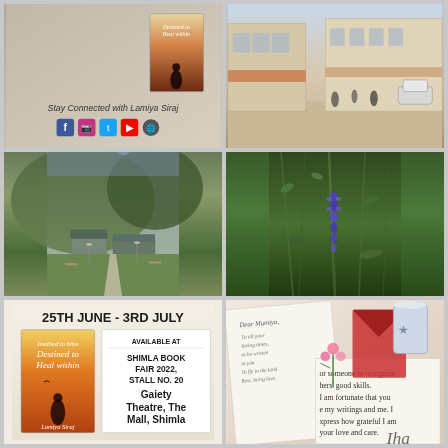[Figure (photo): Book promotion image for 'Destined to Heal Within' by Lamiya Siraj, with social media icons and text 'Stay Connected with Lamiya Siraj']
[Figure (photo): Street scene with buildings, awnings, and people walking in what appears to be a market or town square]
[Figure (photo): Mountain resort with green hills, buildings, pathway, and lamp posts with grass lawn]
[Figure (photo): Close-up of purple/blue wildflowers against green foliage background]
[Figure (photo): Book fair promotional image: '25TH JUNE - 3RD JULY', Available at Shimla Book Fair 2022, Stall No. 20, Gaiety Theatre, The Mall, Shimla. Shows book cover of 'Destined to Heal Within' by Lamiya Siraj]
[Figure (photo): Flatlay of handwritten letters/diary, pink flowers, red envelope/folder, and a metallic cup with text about recognizing others' good skills and expressing gratitude]